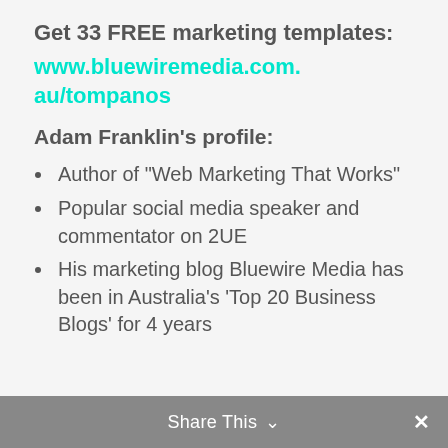Get 33 FREE marketing templates: www.bluewiremedia.com.au/tompanos
Adam Franklin's profile:
Author of “Web Marketing That Works”
Popular social media speaker and commentator on 2UE
His marketing blog Bluewire Media has been in Australia’s ‘Top 20 Business Blogs’ for 4 years
Share This ⌄ ×